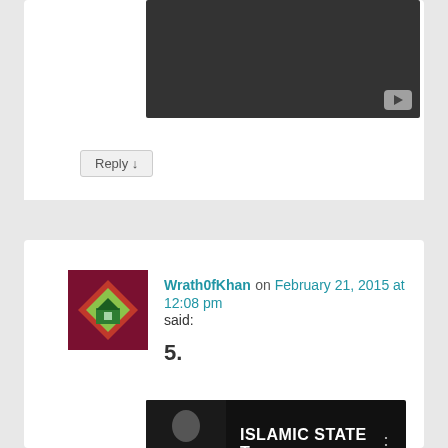[Figure (screenshot): Dark video thumbnail with YouTube play button in bottom right corner]
Reply ↓
Wrath0fKhan on February 21, 2015 at 12:08 pm said:
5.
[Figure (screenshot): YouTube video thumbnail showing a man in a suit with text ISLAMIC STATE T... and a vertical three-dot menu icon]